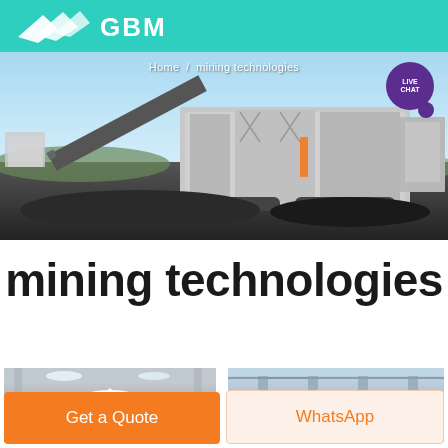GBM logo header with teal background
[Figure (photo): Mining machinery / mobile crushing plant on a job site with blue sky background. Breadcrumb navigation overlay: Home / mining technologies. Live Chat button top right.]
mining technologies
[Figure (photo): Two partial photos at bottom: left showing industrial indoor facility with large silo/cone, right showing industrial building interior with columns.]
Get a Quote
WhatsApp